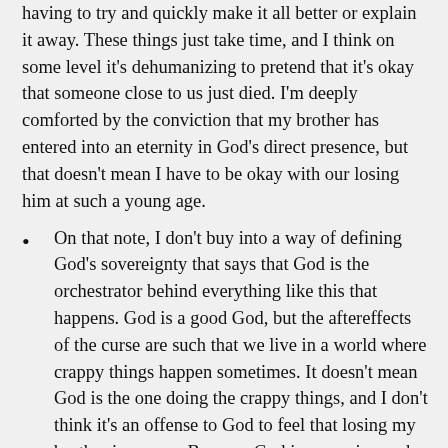having to try and quickly make it all better or explain it away. These things just take time, and I think on some level it's dehumanizing to pretend that it's okay that someone close to us just died. I'm deeply comforted by the conviction that my brother has entered into an eternity in God's direct presence, but that doesn't mean I have to be okay with our losing him at such a young age.
On that note, I don't buy into a way of defining God's sovereignty that says that God is the orchestrator behind everything like this that happens. God is a good God, but the aftereffects of the curse are such that we live in a world where crappy things happen sometimes. It doesn't mean God is the one doing the crappy things, and I don't think it's an offense to God to feel that losing my brother is crappy. Because God is sovereign and God is good, He can work the most awful situations for good (and He has certainly brought much good out of Ben's death). But I'd still prefer to have Ben here for